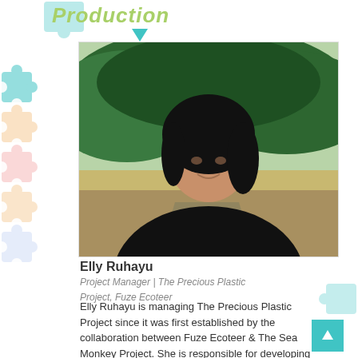Production
[Figure (photo): Portrait photo of Elly Ruhayu outdoors with green forested hills in background, wearing black top]
Elly Ruhayu
Project Manager | The Precious Plastic Project, Fuze Ecoteer
Elly Ruhayu is managing The Precious Plastic Project since it was first established by the collaboration between Fuze Ecoteer & The Sea Monkey Project. She is responsible for developing the advocacy and